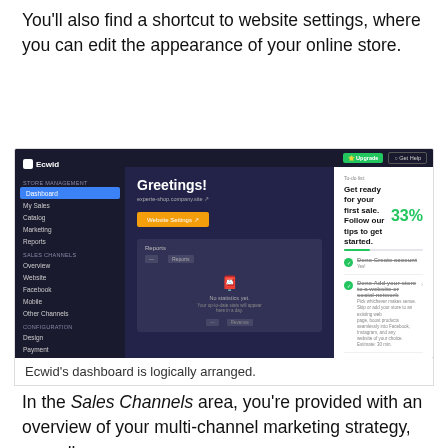You'll also find a shortcut to website settings, where you can edit the appearance of your online store.
[Figure (screenshot): Screenshot of Ecwid e-commerce dashboard showing sidebar navigation with Dashboard, My Sales, Catalog, Marketing, Reports, Sales Channels (Overview, Website, Facebook, Mobile, Other Channels), Configuration (Design, Payment, Shipping & Pickup, Settings, Apps, My Profile). Main area shows 'Greetings!' header, website settings button, Reports section with mailbox icon and 'No statistics yet' message. Right panel shows a To-do list with 33% progress and tasks: Done Create account, Done Add your store to a website or social network, Add your products or services, Review regional settings, Choose how to deliver your goods.]
Ecwid's dashboard is logically arranged.
In the Sales Channels area, you're provided with an overview of your multi-channel marketing strategy, as well